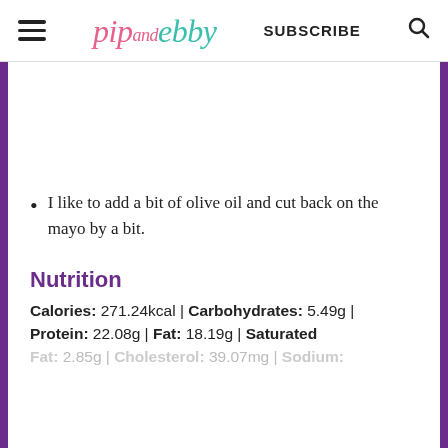pip and ebby | SUBSCRIBE
I like to add a bit of olive oil and cut back on the mayo by a bit.
Nutrition
Calories: 271.24kcal | Carbohydrates: 5.49g | Protein: 22.08g | Fat: 18.19g | Saturated Fat: 2.85g | Cholesterol: 39.07mg | Sodium: